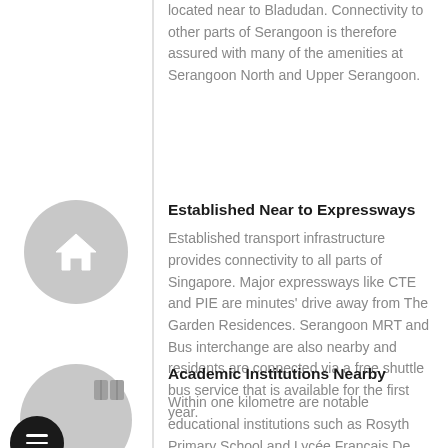located near to Bladudan. Connectivity to other parts of Serangoon is therefore assured with many of the amenities at Serangoon North and Upper Serangoon.
Established Near to Expressways
Established transport infrastructure provides connectivity to all parts of Singapore. Major expressways like CTE and PIE are minutes' drive away from The Garden Residences. Serangoon MRT and Bus interchange are also nearby and residents are connected via a free shuttle bus service that is available for the first year.
Academic Institutions Nearby
Within one kilometre are notable educational institutions such as Rosyth Primary School and Lycée Francais De Singapour. In the vicinity are